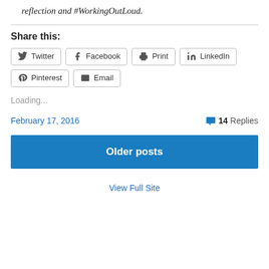reflection and #WorkingOutLoud.
Share this:
Twitter  Facebook  Print  LinkedIn  Pinterest  Email
Loading...
February 17, 2016
14 Replies
Older posts
View Full Site